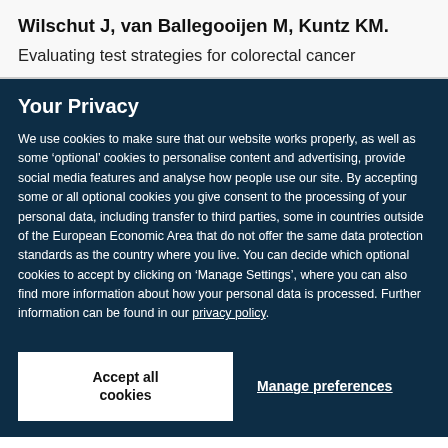Wilschut J, van Ballegooijen M, Kuntz KM.
Evaluating test strategies for colorectal cancer
Your Privacy
We use cookies to make sure that our website works properly, as well as some ‘optional’ cookies to personalise content and advertising, provide social media features and analyse how people use our site. By accepting some or all optional cookies you give consent to the processing of your personal data, including transfer to third parties, some in countries outside of the European Economic Area that do not offer the same data protection standards as the country where you live. You can decide which optional cookies to accept by clicking on ‘Manage Settings’, where you can also find more information about how your personal data is processed. Further information can be found in our privacy policy.
Accept all cookies
Manage preferences